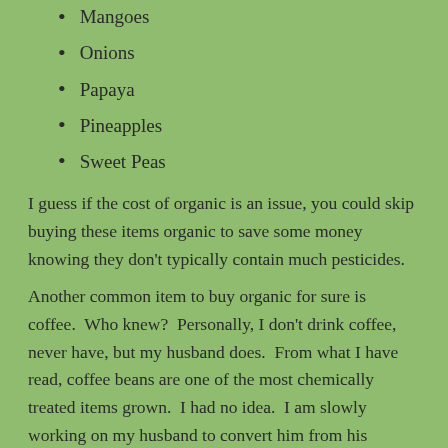Mangoes
Onions
Papaya
Pineapples
Sweet Peas
I guess if the cost of organic is an issue, you could skip buying these items organic to save some money knowing they don't typically contain much pesticides.
Another common item to buy organic for sure is coffee.  Who knew?  Personally, I don't drink coffee, never have, but my husband does.  From what I have read, coffee beans are one of the most chemically treated items grown.  I had no idea.  I am slowly working on my husband to convert him from his conventionally grown, special flavored coffee to something organic.  We will see how it goes.  Hopefully the organic coffee makers realize that if they make the fancy flavors, more people will buy it!  I have not looked for coffee yet, but will do it this week!  Gosh I hope they have some good flavors or this may be a tough sell to my husband!  I don't want a cranky husband, with breast cancer I am cranky enough for both of us!